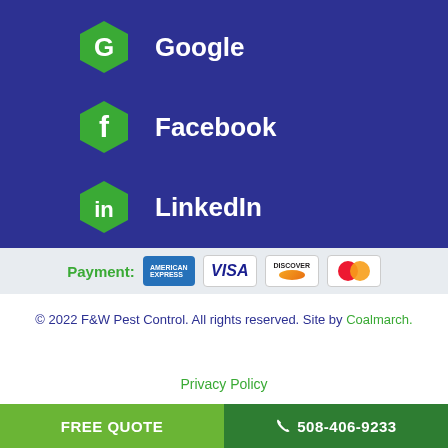[Figure (illustration): Dark blue background section showing three social media icons (Google, Facebook, LinkedIn) as green hexagons with white icons, each followed by the platform name in white text]
[Figure (illustration): Payment section showing Payment: label in green followed by American Express, Visa, Discover, and Mastercard card logos]
© 2022 F&W Pest Control. All rights reserved. Site by Coalmarch.
Privacy Policy
FREE QUOTE   508-406-9233